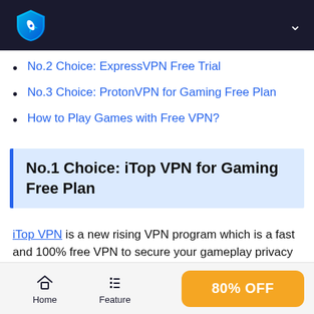iTop VPN logo and navigation header
No.2 Choice: ExpressVPN Free Trial
No.3 Choice: ProtonVPN for Gaming Free Plan
How to Play Games with Free VPN?
No.1 Choice: iTop VPN for Gaming Free Plan
iTop VPN is a new rising VPN program which is a fast and 100% free VPN to secure your gameplay privacy and access unlimited online games from anywhere in the world. It has 1800+ global servers and allows 5 devices to connect with
Home | Feature | 80% OFF